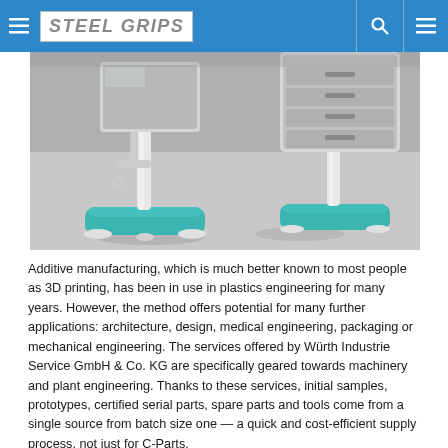Steel Grips
[Figure (photo): Medical or industrial equipment on stands with teal/turquoise bases, white poles, on a grey floor surface. Appears to be ultrasound or medical device stands photographed in a clinical or showroom setting.]
Additive manufacturing, which is much better known to most people as 3D printing, has been in use in plastics engineering for many years. However, the method offers potential for many further applications: architecture, design, medical engineering, packaging or mechanical engineering. The services offered by Würth Industrie Service GmbH & Co. KG are specifically geared towards machinery and plant engineering. Thanks to these services, initial samples, prototypes, certified serial parts, spare parts and tools come from a single source from batch size one — a quick and cost-efficient supply process, not just for C-Parts.